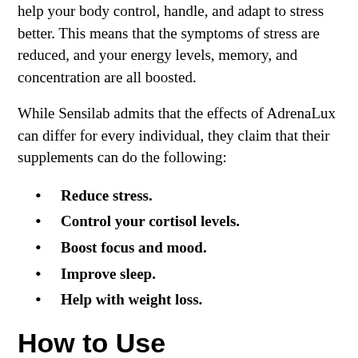potent type of ashwagandha (Sensoril), and Siberian ginseng to help your body control, handle, and adapt to stress better. This means that the symptoms of stress are reduced, and your energy levels, memory, and concentration are all boosted.
While Sensilab admits that the effects of AdrenaLux can differ for every individual, they claim that their supplements can do the following:
Reduce stress.
Control your cortisol levels.
Boost focus and mood.
Improve sleep.
Help with weight loss.
How to Use
Sensilab recommends that you consume 2 AdrenaLux capsules daily. You should take one capsule twice a day with a glass of water after a meal. The recommended daily intake shouldn't be